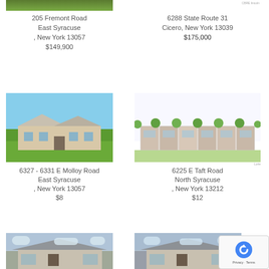[Figure (photo): Partial top of building photo, top-left listing]
205 Fremont Road
East Syracuse
, New York  13057
$149,900
CBRE lincoln (small label)
6288 State Route 31
Cicero, New York  13039
$175,000
[Figure (photo): Commercial building with large roof and green lawn, East Syracuse]
6327 - 6331 E Molloy Road
East Syracuse
, New York  13057
$8
[Figure (illustration): Architectural rendering of retail strip with trees, North Syracuse]
Lorie (small label)
6225 E Taft Road
North Syracuse
, New York  13212
$12
[Figure (photo): Rendering of residential/commercial building, bottom-left]
[Figure (photo): Rendering of residential/commercial building, bottom-right]